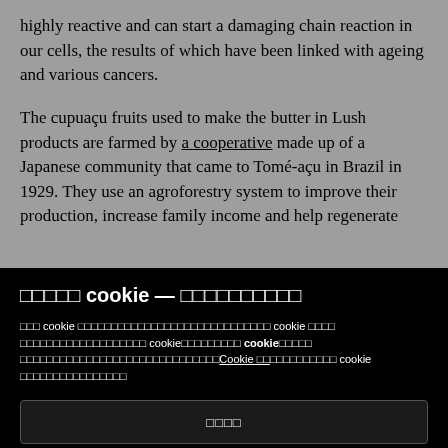highly reactive and can start a damaging chain reaction in our cells, the results of which have been linked with ageing and various cancers.
The cupuaçu fruits used to make the butter in Lush products are farmed by a cooperative made up of a Japanese community that came to Tomé-açu in Brazil in 1929. They use an agroforestry system to improve their production, increase family income and help regenerate
□□□□□ cookie — □□□□□□□□□□
□□□ cookie □□□□□□□□□□□□□□□□□□□□□□□□□□□□□ cookie □□□□ □□□□□□□□□□□□□□□□□□□ cookie□□□□□□□□□ cookie□□□□□ □□□□□□□□□□□□□□□□□□□□□□□□□□□□□□Cookie □□□□□□□□□□ cookie □□□□□□□□□□□□□□□□
□□□□